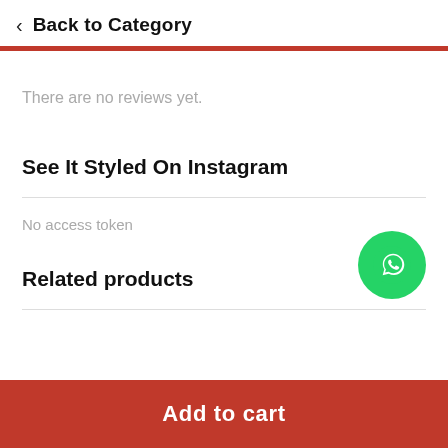< Back to Category
There are no reviews yet.
See It Styled On Instagram
No access token
Related products
[Figure (illustration): Green circular WhatsApp chat button icon]
Add to cart